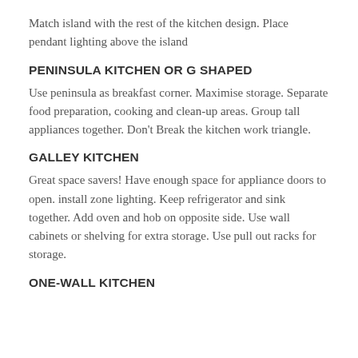Match island with the rest of the kitchen design. Place pendant lighting above the island
PENINSULA KITCHEN OR G SHAPED
Use peninsula as breakfast corner. Maximise storage. Separate food preparation, cooking and clean-up areas. Group tall appliances together. Don't Break the kitchen work triangle.
GALLEY KITCHEN
Great space savers! Have enough space for appliance doors to open. install zone lighting. Keep refrigerator and sink together. Add oven and hob on opposite side. Use wall cabinets or shelving for extra storage. Use pull out racks for storage.
ONE-WALL KITCHEN